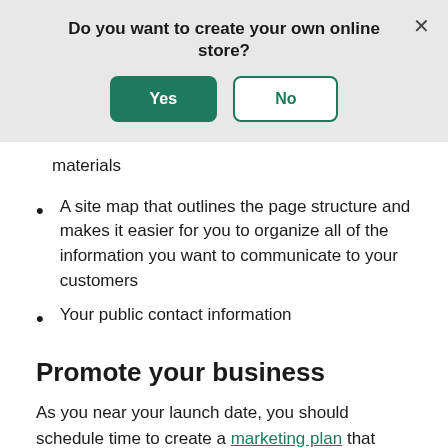[Figure (screenshot): Modal dialog asking 'Do you want to create your own online store?' with a green 'Yes' button and outlined 'No' button, and an X close button in the top right corner.]
materials
A site map that outlines the page structure and makes it easier for you to organize all of the information you want to communicate to your customers
Your public contact information
Promote your business
As you near your launch date, you should schedule time to create a marketing plan that